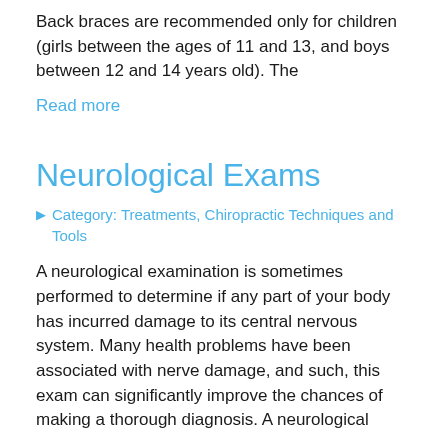Back braces are recommended only for children (girls between the ages of 11 and 13, and boys between 12 and 14 years old). The
Read more
Neurological Exams
Category: Treatments, Chiropractic Techniques and Tools
A neurological examination is sometimes performed to determine if any part of your body has incurred damage to its central nervous system. Many health problems have been associated with nerve damage, and such, this exam can significantly improve the chances of making a thorough diagnosis. A neurological
Read more